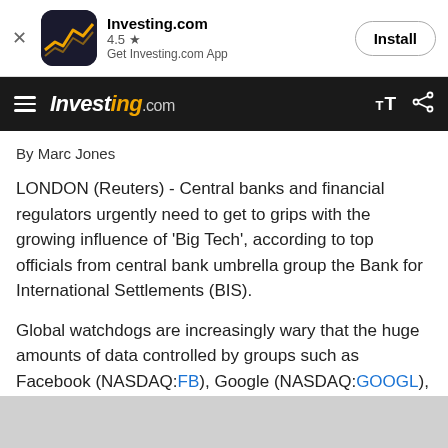[Figure (screenshot): Investing.com app install banner with icon, 4.5 star rating, and Install button]
Investing.com navigation bar with hamburger menu, Investing.com logo, text size and share icons
By Marc Jones
LONDON (Reuters) - Central banks and financial regulators urgently need to get to grips with the growing influence of 'Big Tech', according to top officials from central bank umbrella group the Bank for International Settlements (BIS).
Global watchdogs are increasingly wary that the huge amounts of data controlled by groups such as Facebook (NASDAQ:FB), Google (NASDAQ:GOOGL),